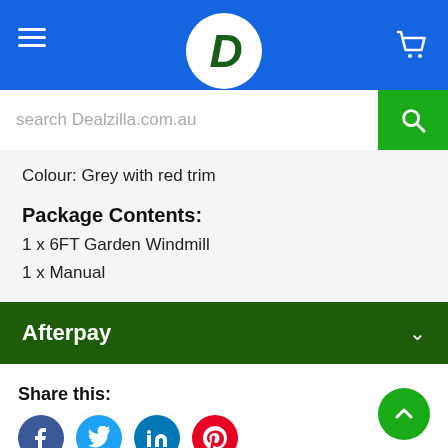Dealzilla header with logo and cart
search Dealzilla.com.au
Colour: Grey with red trim
Package Contents:
1 x 6FT Garden Windmill
1 x Manual
Afterpay
Share this: